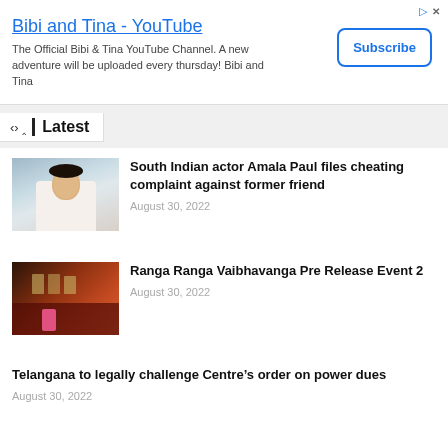[Figure (screenshot): YouTube ad banner for Bibi and Tina channel with Subscribe button]
Latest
[Figure (photo): Photo of South Indian actor Amala Paul]
South Indian actor Amala Paul files cheating complaint against former friend
August 30, 2022
[Figure (photo): Photo from Ranga Ranga Vaibhavanga Pre Release Event]
Ranga Ranga Vaibhavanga Pre Release Event 2
August 30, 2022
Telangana to legally challenge Centre’s order on power dues
August 30, 2022